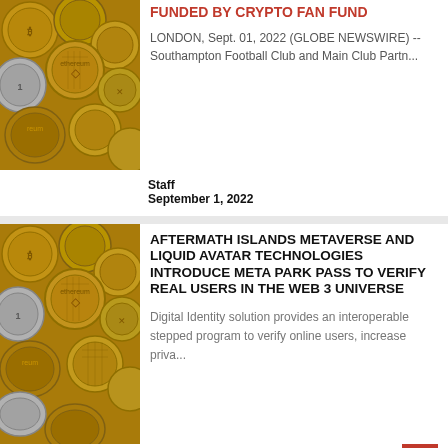[Figure (photo): Pile of gold, silver and bronze cryptocurrency coins including Bitcoin, Ethereum, Ripple and others]
FUNDED BY CRYPTO FAN FUND
LONDON, Sept. 01, 2022 (GLOBE NEWSWIRE) -- Southampton Football Club and Main Club Partn...
Staff
September 1, 2022
[Figure (photo): Pile of gold, silver and bronze cryptocurrency coins including Bitcoin, Ethereum, Ripple and others]
AFTERMATH ISLANDS METAVERSE AND LIQUID AVATAR TECHNOLOGIES INTRODUCE META PARK PASS TO VERIFY REAL USERS IN THE WEB 3 UNIVERSE
Digital Identity solution provides an interoperable stepped program to verify online users, increase priva...
Staff
September 1, 2022